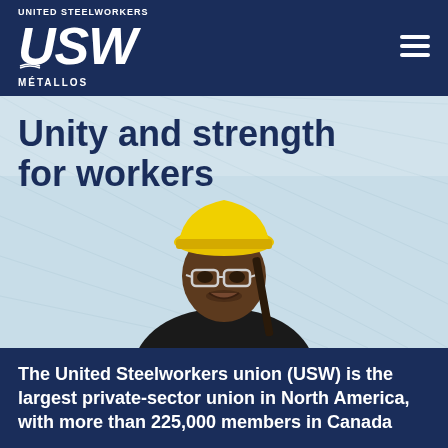UNITED STEELWORKERS USW MÉTALLOS
Unity and strength for workers
[Figure (photo): A worker wearing a yellow hard hat and safety glasses, looking at the camera, with industrial/light blue background with faint grid lines]
The United Steelworkers union (USW) is the largest private-sector union in North America, with more than 225,000 members in Canada